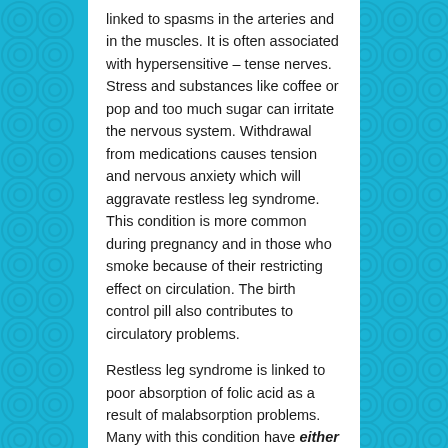linked to spasms in the arteries and in the muscles. It is often associated with hypersensitive – tense nerves. Stress and substances like coffee or pop and too much sugar can irritate the nervous system. Withdrawal from medications causes tension and nervous anxiety which will aggravate restless leg syndrome. This condition is more common during pregnancy and in those who smoke because of their restricting effect on circulation. The birth control pill also contributes to circulatory problems.
Restless leg syndrome is linked to poor absorption of folic acid as a result of malabsorption problems. Many with this condition have either